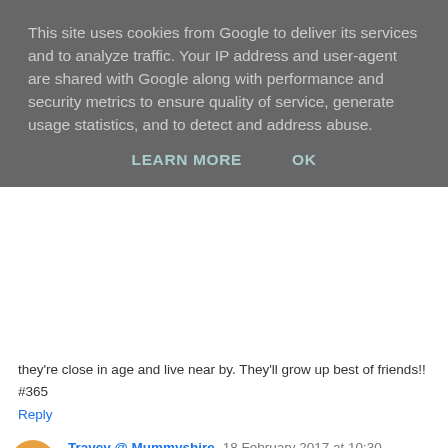This site uses cookies from Google to deliver its services and to analyze traffic. Your IP address and user-agent are shared with Google along with performance and security metrics to ensure quality of service, generate usage statistics, and to detect and address abuse.
LEARN MORE    OK
they're close in age and live near by. They'll grow up best of friends!!
#365
Reply
Travey @ Mummyshire  18 February 2017 at 10:30
I'm so impressed with your workouts. It's great once you get motivated. I've struggled to get going since the start on the year. I was doing so well then Christmas hit and I've been off it since. So really well done you!!
Love the photo of all the children together, it's so lovely that they're close in age and live near by. They'll grow up best of friends!!